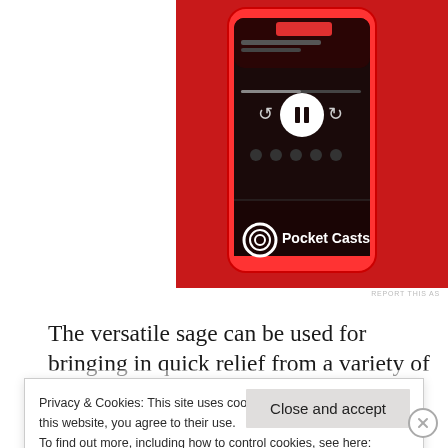[Figure (screenshot): Pocket Casts app advertisement showing a smartphone with the Pocket Casts podcast app on a red background, with the Pocket Casts logo and wordmark visible.]
REPORT THIS AS
The versatile sage can be used for bringing in quick relief from a variety of ailments, both minor and major. For example, to gain immediate relief from itching and swelling accompanying insect bites, a few fresh sage leaves can be plucked, and then crushed or even
Privacy & Cookies: This site uses cookies. By continuing to use this website, you agree to their use.
To find out more, including how to control cookies, see here:
Our Cookie Policy
Close and accept